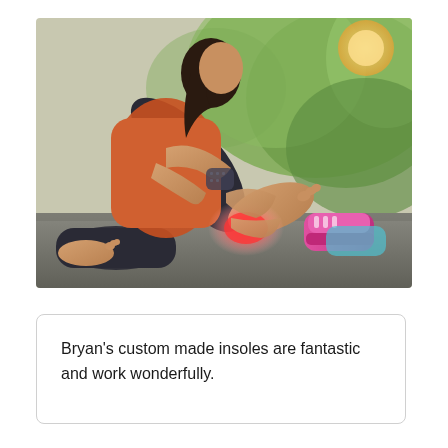[Figure (photo): A woman in athletic clothing (orange top, dark leggings) sitting on the ground outdoors, holding and massaging her bare foot/heel with a pink-red glow highlighting the pain area. Pink athletic shoes visible beside her. Green trees and foliage in background.]
Bryan's custom made insoles are fantastic and work wonderfully.